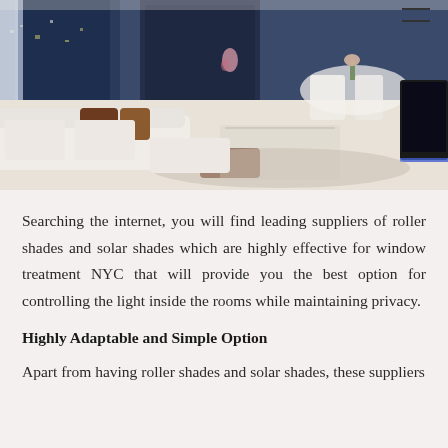[Figure (photo): Interior photo of a modern living room with white sofas, brown accent pillows, a glass coffee table, white dining area in background, and a TV on the right side. Large windows with a night city view backdrop.]
Searching the internet, you will find leading suppliers of roller shades and solar shades which are highly effective for window treatment NYC that will provide you the best option for controlling the light inside the rooms while maintaining privacy.
Highly Adaptable and Simple Option
Apart from having roller shades and solar shades, these suppliers